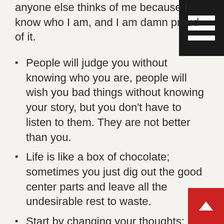anyone else thinks of me because I know who I am, and I am damn proud of it.
People will judge you without knowing who you are, people will wish you bad things without knowing your story, but you don't have to listen to them. They are not better than you.
Life is like a box of chocolate; sometimes you just dig out the good center parts and leave all the undesirable rest to waste.
Start by changing your thoughts; finish by changing your life.
Every path has obstacles, but it is up to you to continue to